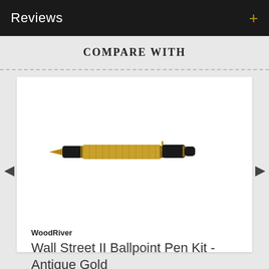Reviews +
COMPARE WITH
[Figure (photo): A WoodRiver Wall Street II Ballpoint Pen Kit in Antique Gold finish — a ballpoint pen with a gold/amber textured barrel and dark end caps with gold hardware, shown at a slight angle horizontally.]
WoodRiver
Wall Street II Ballpoint Pen Kit - Antique Gold
Item #176317